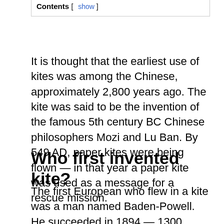Contents [ show ]
It is thought that the earliest use of kites was among the Chinese, approximately 2,800 years ago. The kite was said to be the invention of the famous 5th century BC Chinese philosophers Mozi and Lu Ban. By 549 AD, paper kites were being flown — in that year a paper kite was used as a message for a rescue mission.
Who first invented kite?
The first European who flew in a kite was a man named Baden-Powell. He succeeded in 1894 — 1300 years after Yuan had delayed his own execution by flying. The story of